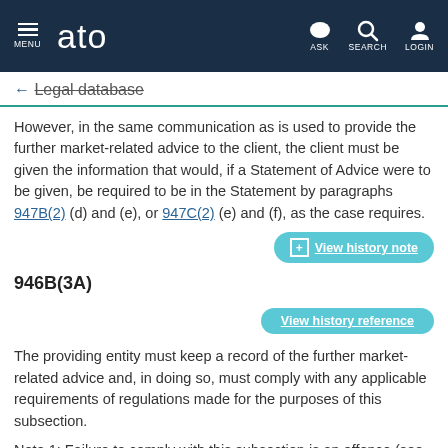ato — MENU | ASK | SEARCH | LOGIN
← Legal database
However, in the same communication as is used to provide the further market-related advice to the client, the client must be given the information that would, if a Statement of Advice were to be given, be required to be in the Statement by paragraphs 947B(2) (d) and (e), or 947C(2) (e) and (f), as the case requires.
+ View history note
946B(3A)
View history reference
The providing entity must keep a record of the further market-related advice and, in doing so, must comply with any applicable requirements of regulations made for the purposes of this subsection.
Note 1: Failure to comply with this subsection is an offence (see